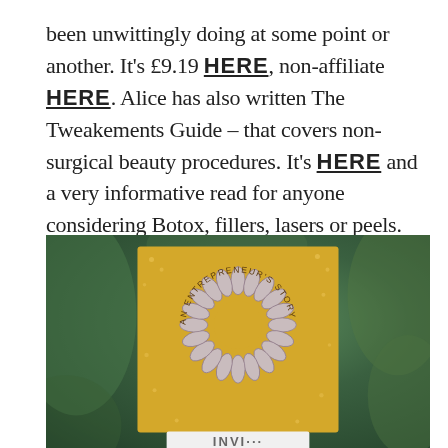been unwittingly doing at some point or another. It's £9.19 HERE, non-affiliate HERE. Alice has also written The Tweakements Guide – that covers non-surgical beauty procedures. It's HERE and a very informative read for anyone considering Botox, fillers, lasers or peels.
[Figure (photo): A yellow product box/card displaying a clear/transparent spiral hair tie (Invisibobble), with the text 'AN ENTREPRENEUR'S STORY' arranged in a circular arc at the bottom of the card. The card is set against a blurred green foliage background. Partial text at the bottom of the image appears to read something starting with 'INVI...' or similar branding.]